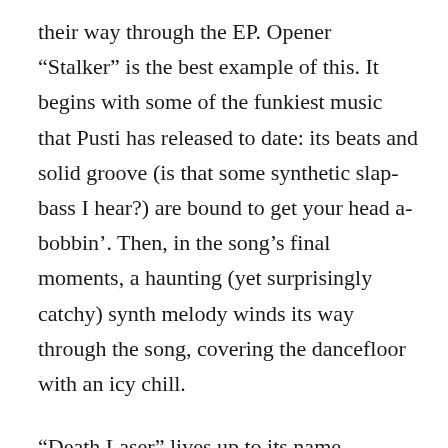their way through the EP. Opener “Stalker” is the best example of this. It begins with some of the funkiest music that Pusti has released to date: its beats and solid groove (is that some synthetic slap-bass I hear?) are bound to get your head a-bobbin’. Then, in the song’s final moments, a haunting (yet surprisingly catchy) synth melody winds its way through the song, covering the dancefloor with an icy chill.
“Death Laser” lives up to its name, maintaining a constant intensity with pulsing arpeggios and snappy rhythms. A brief respite occurs mid-way,